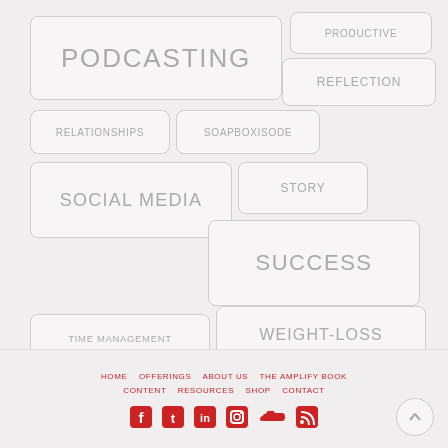[Figure (infographic): Tag cloud / word cloud with category tags: PODCASTING (large), PRODUCTIVE, REFLECTION, RELATIONSHIPS, SOAPBOXISODE, SOCIAL MEDIA (large), STORY, SUCCESS (large), TIME MANAGEMENT, WEIGHT-LOSS]
HOME   OFFERINGS   ABOUT US   THE AMPLIFY BOOK   CONTENT   RESOURCES   SHOP   CONTACT
[Figure (infographic): Social media icons: Facebook, Twitter, LinkedIn, Instagram, SoundCloud, RSS feed]